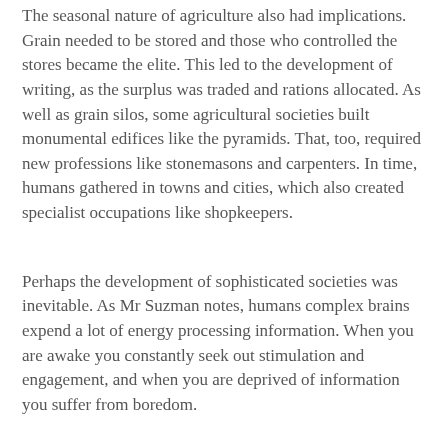The seasonal nature of agriculture also had implications. Grain needed to be stored and those who controlled the stores became the elite. This led to the development of writing, as the surplus was traded and rations allocated. As well as grain silos, some agricultural societies built monumental edifices like the pyramids. That, too, required new professions like stonemasons and carpenters. In time, humans gathered in towns and cities, which also created specialist occupations like shopkeepers.
Perhaps the development of sophisticated societies was inevitable. As Mr Suzman notes, humans complex brains expend a lot of energy processing information. When you are awake you constantly seek out stimulation and engagement, and when you are deprived of information you suffer from boredom.